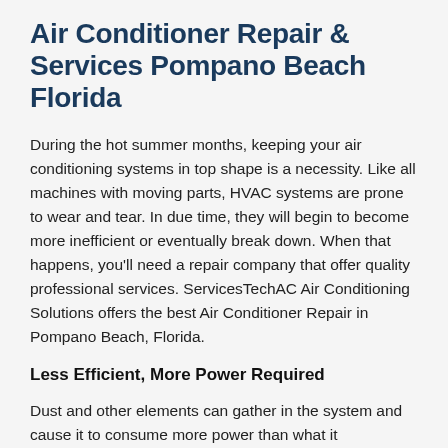Air Conditioner Repair & Services Pompano Beach Florida
During the hot summer months, keeping your air conditioning systems in top shape is a necessity. Like all machines with moving parts, HVAC systems are prone to wear and tear. In due time, they will begin to become more inefficient or eventually break down. When that happens, you'll need a repair company that offer quality professional services. ServicesTechAC Air Conditioning Solutions offers the best Air Conditioner Repair in Pompano Beach, Florida.
Less Efficient, More Power Required
Dust and other elements can gather in the system and cause it to consume more power than what it